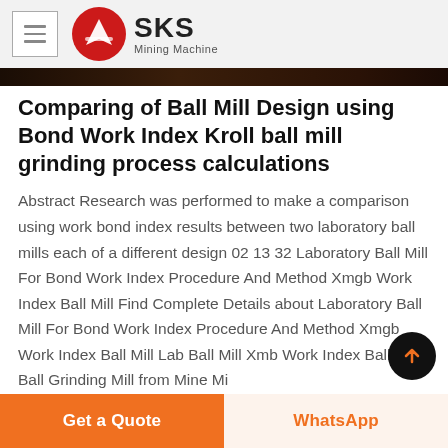SKS Mining Machine
Comparing of Ball Mill Design using Bond Work Index Kroll ball mill grinding process calculations
Abstract Research was performed to make a comparison using work bond index results between two laboratory ball mills each of a different design 02 13 32 Laboratory Ball Mill For Bond Work Index Procedure And Method Xmgb Work Index Ball Mill Find Complete Details about Laboratory Ball Mill For Bond Work Index Procedure And Method Xmgb Work Index Ball Mill Lab Ball Mill Xmb Work Index Ball Mill Ball Grinding Mill from Mine Mi...